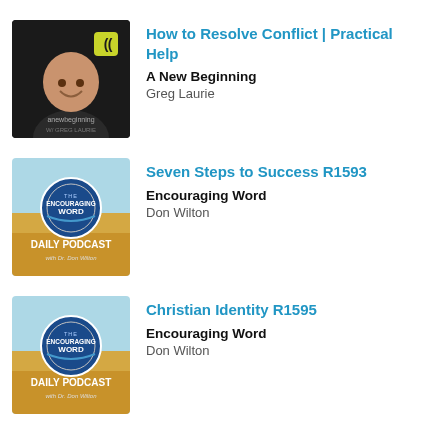[Figure (photo): Podcast thumbnail for A New Beginning with Greg Laurie — man smiling on dark background with podcast logo text]
How to Resolve Conflict | Practical Help
A New Beginning
Greg Laurie
[Figure (photo): Podcast thumbnail for The Encouraging Word Daily Podcast with Dr. Don Wilton — wheat field background with blue circular logo]
Seven Steps to Success R1593
Encouraging Word
Don Wilton
[Figure (photo): Podcast thumbnail for The Encouraging Word Daily Podcast with Dr. Don Wilton — wheat field background with blue circular logo]
Christian Identity R1595
Encouraging Word
Don Wilton